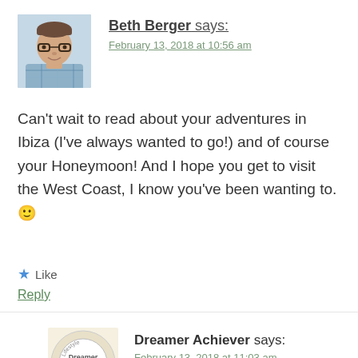Beth Berger says:
February 13, 2018 at 10:56 am
Can't wait to read about your adventures in Ibiza (I've always wanted to go!) and of course your Honeymoon! And I hope you get to visit the West Coast, I know you've been wanting to. 🙂
★ Like
Reply
Dreamer Achiever says:
February 13, 2018 at 11:03 am